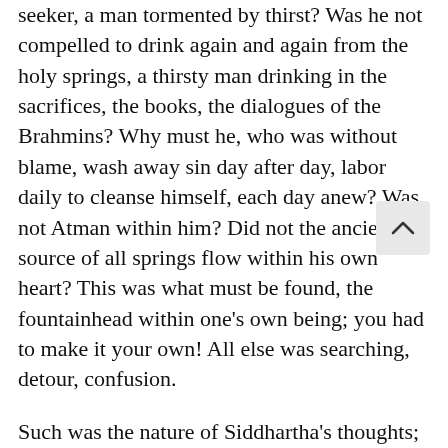seeker, a man tormented by thirst? Was he not compelled to drink again and again from the holy springs, a thirsty man drinking in the sacrifices, the books, the dialogues of the Brahmins? Why must he, who was without blame, wash away sin day after day, labor daily to cleanse himself, each day anew? Was not Atman within him? Did not the ancient source of all springs flow within his own heart? This was what must be found, the fountainhead within one's own being; you had to make it your own! All else was searching, detour, confusion.
Such was the nature of Siddhartha's thoughts; this was his thirst, this his sorrow.
Often he recited to himself the words of a Chandogya Upanishad: “Verily, the name of the